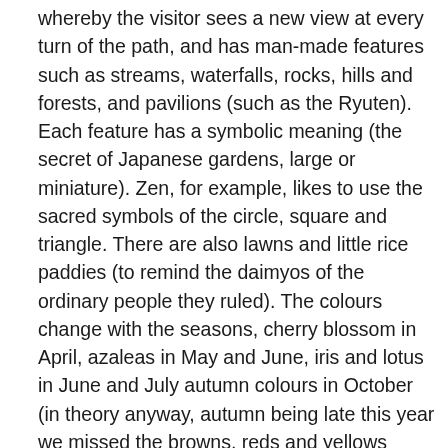whereby the visitor sees a new view at every turn of the path, and has man-made features such as streams, waterfalls, rocks, hills and forests, and pavilions (such as the Ryuten). Each feature has a symbolic meaning (the secret of Japanese gardens, large or miniature). Zen, for example, likes to use the sacred symbols of the circle, square and triangle. There are also lawns and little rice paddies (to remind the daimyos of the ordinary people they ruled). The colours change with the seasons, cherry blossom in April, azaleas in May and June, iris and lotus in June and July autumn colours in October (in theory anyway, autumn being late this year we missed the browns, reds and yellows almost completely).
Next day we visited Imbe to see some famous Bizen pottery ware (using techniques dating back to the 700s). It is earthy, rustic pottery and we were invited to see a kiln in